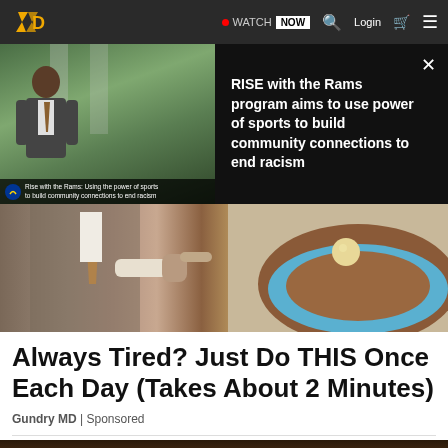Navigation bar with logo, WATCH NOW, Search, Login, Cart, Menu
[Figure (screenshot): Video thumbnail showing a man in a suit with RISE with the Rams program overlay text and Rams logo caption bar]
RISE with the Rams program aims to use power of sports to build community connections to end racism
[Figure (photo): Close-up photo of a man in a suit and tie pointing at something, alongside a geological/cross-section model with blue and brown layers]
Always Tired? Just Do THIS Once Each Day (Takes About 2 Minutes)
Gundry MD | Sponsored
[Figure (photo): Partial photo showing dark textured surface with white objects at bottom edge]